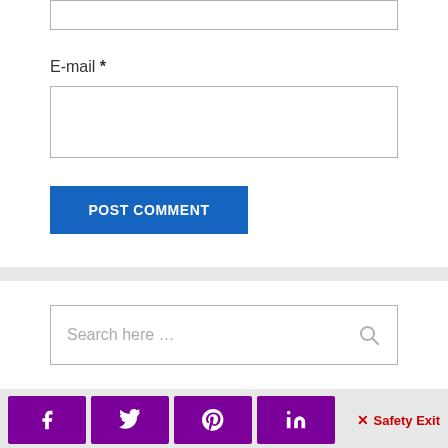E-mail *
POST COMMENT
Search here …
✕ Safety Exit